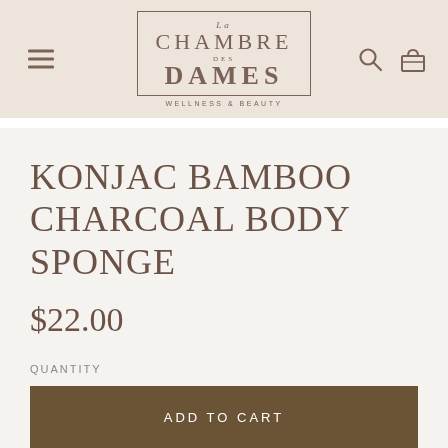La Chambre des Dames — Wellness & Beauty
KONJAC BAMBOO CHARCOAL BODY SPONGE
$22.00
QUANTITY
1
ADD TO CART